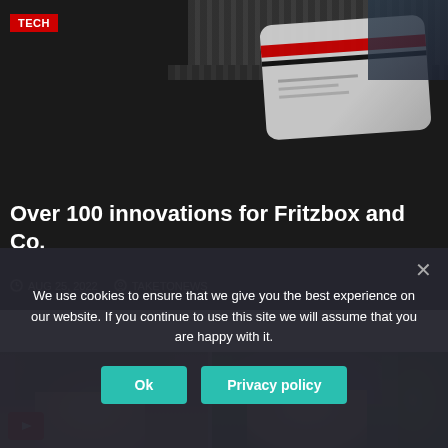[Figure (screenshot): Article card with dark background showing a Fritzbox router device and laptop keyboard, with TECH badge, article title and metadata]
Over 100 innovations for Fritzbox and Co.
AUG 25, 2022   TAKETONEWS
[Figure (photo): Two men photographed outdoors, one with light brown hair on the left, one with grey hair on the right with green foliage in background]
We use cookies to ensure that we give you the best experience on our website. If you continue to use this site we will assume that you are happy with it.